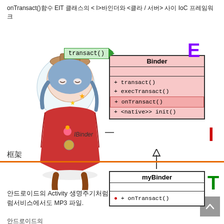onTransact()함수 EIT 클래스의 < I>바인더와 <클라 / 서버> 사이 IoC 프레임워크
[Figure (engineering-diagram): UML class diagram showing Binder class with transact(), execTransact(), onTransact(), <native>> init() methods, myBinder subclass with onTransact() method, connected by inheritance arrow. IBinder interface label. E (purple), I (red), T (green) labels indicating EIT framework. 框架 (framework) label with orange dividing line. Kawaii anime character overlaid on diagram. Green transact() call box at top.]
안드로이드의 Activity 생명주기처럼서비스에서도 MediaPlayer 처럼서비스에서도 MP3 파일.
안드로이드의